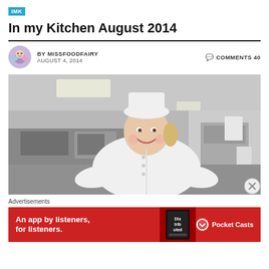IMK
In my Kitchen August 2014
BY MISSFOODFAIRY   AUGUST 4, 2014   COMMENTS 40
[Figure (photo): A smiling woman wearing a white chef's coat and white chef's hat, standing in a professional kitchen with stainless steel equipment and white walls visible in the background.]
Advertisements
[Figure (infographic): Red advertisement banner for Pocket Casts app reading 'An app by listeners, for listeners.' with the Pocket Casts logo on the right and a book graphic in the center-right area.]